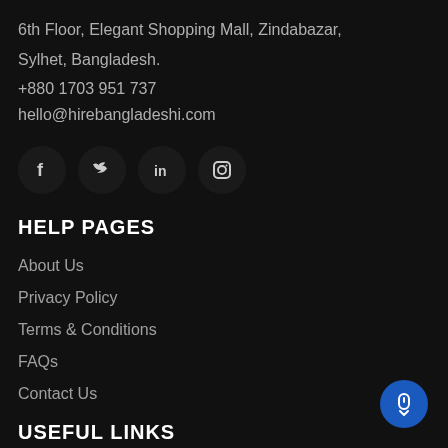6th Floor, Elegant Shopping Mall, Zindabazar,
Sylhet, Bangladesh.
+880 1703 951 737
hello@hirebangladeshi.com
[Figure (illustration): Four social media icon circles: Facebook (f), Twitter (bird), LinkedIn (in), Instagram (camera)]
HELP PAGES
About Us
Privacy Policy
Terms & Conditions
FAQs
Contact Us
[Figure (illustration): Blue circular scroll-to-top button with mouse/arrow icon]
USEFUL LINKS